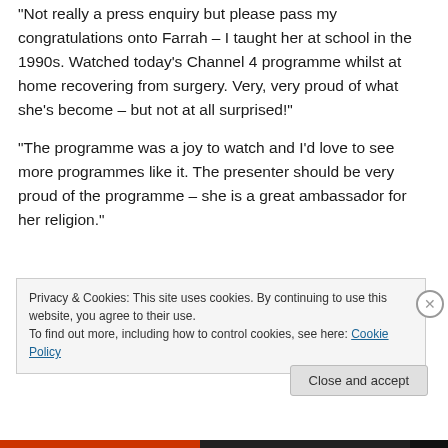“Not really a press enquiry but please pass my congratulations onto Farrah – I taught her at school in the 1990s. Watched today’s Channel 4 programme whilst at home recovering from surgery. Very, very proud of what she’s become – but not at all surprised!”
“The programme was a joy to watch and I’d love to see more programmes like it. The presenter should be very proud of the programme – she is a great ambassador for her religion.”
Privacy & Cookies: This site uses cookies. By continuing to use this website, you agree to their use.
To find out more, including how to control cookies, see here: Cookie Policy